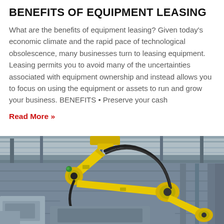BENEFITS OF EQUIPMENT LEASING
What are the benefits of equipment leasing? Given today's economic climate and the rapid pace of technological obsolescence, many businesses turn to leasing equipment. Leasing permits you to avoid many of the uncertainties associated with equipment ownership and instead allows you to focus on using the equipment or assets to run and grow your business. BENEFITS • Preserve your cash
Read More »
[Figure (photo): Industrial robotic arm (yellow FANUC robot) mounted in a factory/warehouse ceiling environment with pipes and metal structures visible in the background.]